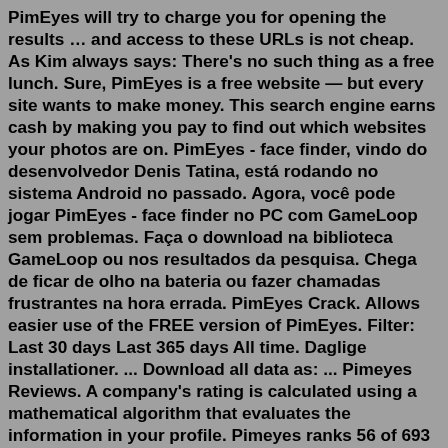PimEyes will try to charge you for opening the results … and access to these URLs is not cheap. As Kim always says: There's no such thing as a free lunch. Sure, PimEyes is a free website — but every site wants to make money. This search engine earns cash by making you pay to find out which websites your photos are on. PimEyes - face finder, vindo do desenvolvedor Denis Tatina, está rodando no sistema Android no passado. Agora, você pode jogar PimEyes - face finder no PC com GameLoop sem problemas. Faça o download na biblioteca GameLoop ou nos resultados da pesquisa. Chega de ficar de olho na bateria ou fazer chamadas frustrantes na hora errada. PimEyes Crack. Allows easier use of the FREE version of PimEyes. Filter: Last 30 days Last 365 days All time. Daglige installationer. ... Download all data as: ... Pimeyes Reviews. A company's rating is calculated using a mathematical algorithm that evaluates the information in your profile. Pimeyes ranks 56 of 693 in IT Services and Solutions category. This for it...